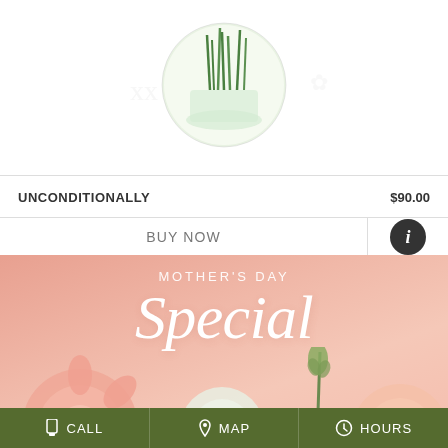[Figure (photo): Circular product image showing green stems/flowers in a glass vase against white background]
UNCONDITIONALLY    $90.00
BUY NOW
[Figure (illustration): Mother's Day Special promotional banner with pink/salmon background, white script text 'MOTHER'S DAY Special' and pink flowers (gerbera daisy, ranunculus) at bottom]
CALL  MAP  HOURS